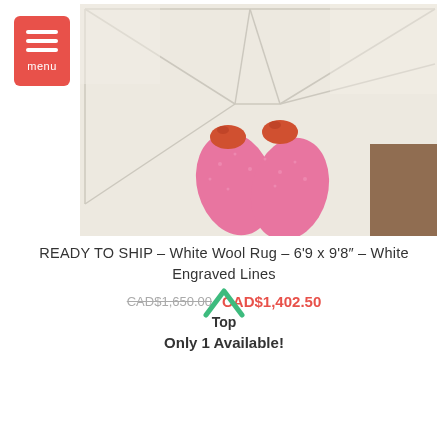[Figure (screenshot): Menu button with hamburger icon and 'menu' label on red/coral background, top-left corner of webpage]
[Figure (photo): Overhead view of a white fluffy wool rug with engraved geometric lines, person in pink pants and orange sandals standing on it]
READY TO SHIP – White Wool Rug – 6'9 x 9'8" – White Engraved Lines
CAD$1,650.00 CAD$1,402.50
Top
Only 1 Available!